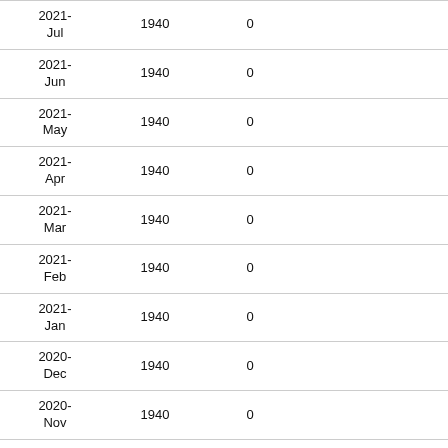| 2021-Jul | 1940 | 0 |  | 1806 |
| 2021-Jun | 1940 | 0 |  | 1806 |
| 2021-May | 1940 | 0 |  | 1806 |
| 2021-Apr | 1940 | 0 |  | 1806 |
| 2021-Mar | 1940 | 0 |  | 1806 |
| 2021-Feb | 1940 | 0 |  | 1806 |
| 2021-Jan | 1940 | 0 |  | 1806 |
| 2020-Dec | 1940 | 0 |  | 1806 |
| 2020-Nov | 1940 | 0 |  | 1806 |
| 2020-Oct | 1940 | 0 |  | 1806 |
| 2020-Sep | 1940 | 0 |  | 1806 |
| 2020-Aug | 1940 | 0 |  | 1806 |